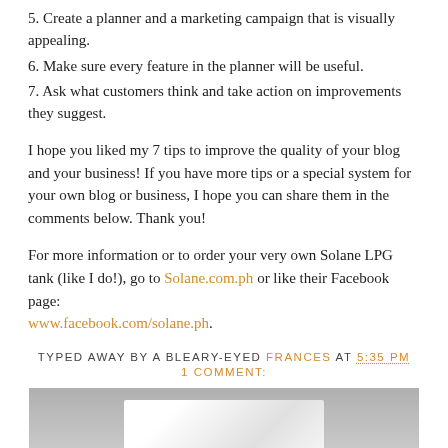5. Create a planner and a marketing campaign that is visually appealing.
6. Make sure every feature in the planner will be useful.
7. Ask what customers think and take action on improvements they suggest.
I hope you liked my 7 tips to improve the quality of your blog and your business! If you have more tips or a special system for your own blog or business, I hope you can share them in the comments below. Thank you!
For more information or to order your very own Solane LPG tank (like I do!), go to Solane.com.ph or like their Facebook page: www.facebook.com/solane.ph.
TYPED AWAY BY A BLEARY-EYED FRANCES AT 5:35 PM
1 COMMENT:
[Figure (photo): Blurred grayscale photograph, partially visible, showing indistinct objects against a light background.]